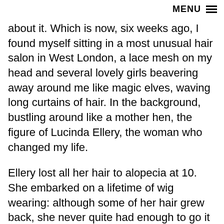MENU
about it. Which is now, six weeks ago, I found myself sitting in a most unusual hair salon in West London, a lace mesh on my head and several lovely girls beavering away around me like magic elves, waving long curtains of hair. In the background, bustling around like a mother hen, the figure of Lucinda Ellery, the woman who changed my life.
Ellery lost all her hair to alopecia at 10. She embarked on a lifetime of wig wearing: although some of her hair grew back, she never quite had enough to go it alone. As an alopecia sufferer at a time when such things were rarely spoken of, she did her best to hide her affliction. Wigs, she found, were woefully inadequate. It wasn’t only the danger of slippage and the general stigma attached to wearing them; it was also the damage…